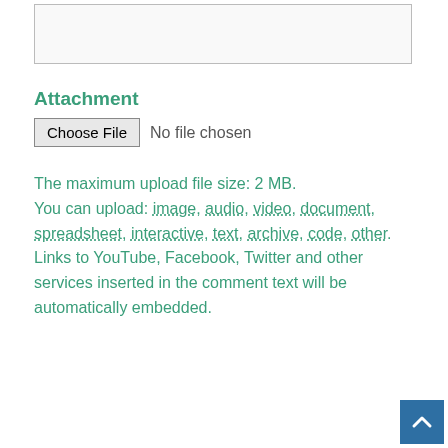[Figure (screenshot): Textarea input box, empty, with border]
Attachment
[Figure (screenshot): Choose File button with 'No file chosen' text]
The maximum upload file size: 2 MB.
You can upload: image, audio, video, document, spreadsheet, interactive, text, archive, code, other.
Links to YouTube, Facebook, Twitter and other services inserted in the comment text will be automatically embedded.
[Figure (screenshot): POST COMMENT button, blue]
[Figure (screenshot): Scroll to top button, blue with upward arrow]